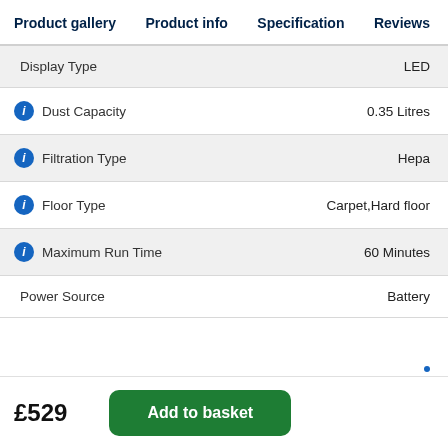Product gallery  Product info  Specification  Reviews
| Specification | Value |
| --- | --- |
| Display Type | LED |
| Dust Capacity | 0.35 Litres |
| Filtration Type | Hepa |
| Floor Type | Carpet,Hard floor |
| Maximum Run Time | 60 Minutes |
| Power Source | Battery |
£529
Add to basket